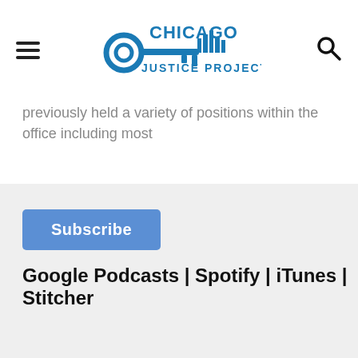[Figure (logo): Chicago Justice Project logo with key icon and city skyline]
previously held a variety of positions within the office including most
Subscribe
Google Podcasts | Spotify | iTunes | Stitcher